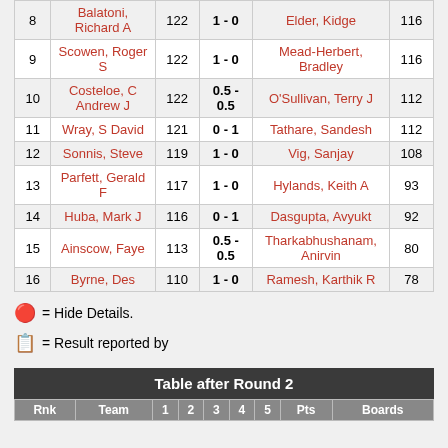| # | Player 1 | Rating | Score | Player 2 | Rating |
| --- | --- | --- | --- | --- | --- |
| 8 | Balatoni, Richard A | 122 | 1 - 0 | Elder, Kidge | 116 |
| 9 | Scowen, Roger S | 122 | 1 - 0 | Mead-Herbert, Bradley | 116 |
| 10 | Costeloe, C Andrew J | 122 | 0.5 - 0.5 | O'Sullivan, Terry J | 112 |
| 11 | Wray, S David | 121 | 0 - 1 | Tathare, Sandesh | 112 |
| 12 | Sonnis, Steve | 119 | 1 - 0 | Vig, Sanjay | 108 |
| 13 | Parfett, Gerald F | 117 | 1 - 0 | Hylands, Keith A | 93 |
| 14 | Huba, Mark J | 116 | 0 - 1 | Dasgupta, Avyukt | 92 |
| 15 | Ainscow, Faye | 113 | 0.5 - 0.5 | Tharkabhushanam, Anirvin | 80 |
| 16 | Byrne, Des | 110 | 1 - 0 | Ramesh, Karthik R | 78 |
= Hide Details.
= Result reported by
| Rnk | Team | 1 | 2 | 3 | 4 | 5 | Pts | Boards |
| --- | --- | --- | --- | --- | --- | --- | --- | --- |